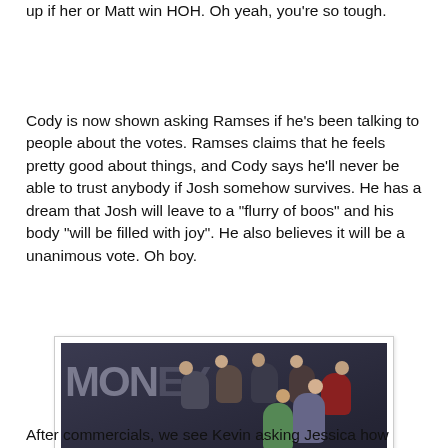up if her or Matt win HOH. Oh yeah, you're so tough.
Cody is now shown asking Ramses if he's been talking to people about the votes. Ramses claims that he feels pretty good about things, and Cody says he'll never be able to trust anybody if Josh somehow survives. He has a dream that Josh will leave to a "flurry of boos" and his body "will be filled with joy". He also believes it will be a unanimous vote. Oh boy.
[Figure (photo): A television show set with multiple contestants seated on grey sofas arranged around a low table on a red circular rug. A large 'MONEY' sign is visible on the wall in the background.]
After commercials, we see Kevin asking Jessica how things